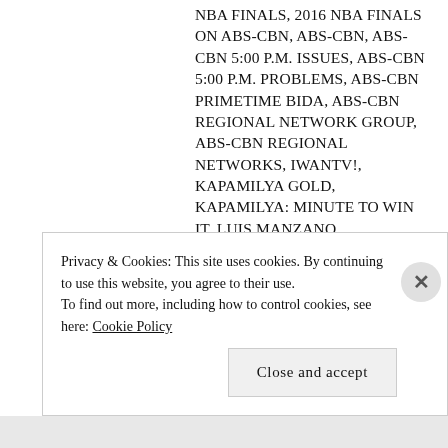NBA FINALS, 2016 NBA FINALS ON ABS-CBN, ABS-CBN, ABS-CBN 5:00 P.M. ISSUES, ABS-CBN 5:00 P.M. PROBLEMS, ABS-CBN PRIMETIME BIDA, ABS-CBN REGIONAL NETWORK GROUP, ABS-CBN REGIONAL NETWORKS, IWANTV!, KAPAMILYA GOLD, KAPAMILYA: MINUTE TO WIN IT, LUIS MANZANO, MAGANDANG BUHAY, MAGANDANG BUHAY ABS-CBN, MAGANDANG BUHAY PREEMPTED, MINUTE TO WIN IT, MINUTE TO WIN IT ABS-CBN, MY SUPER D, MY SUPER D ABS-CBN, MY SUPER D FINAL EPISODE, MY SUPER D FINAL WEEK, MY SUPER D FINALE, MY SUPER D LAST EPISODE, O SHOPPING, O SHOPPING ABS-CBN, PRIMETIME
Privacy & Cookies: This site uses cookies. By continuing to use this website, you agree to their use. To find out more, including how to control cookies, see here: Cookie Policy
Close and accept